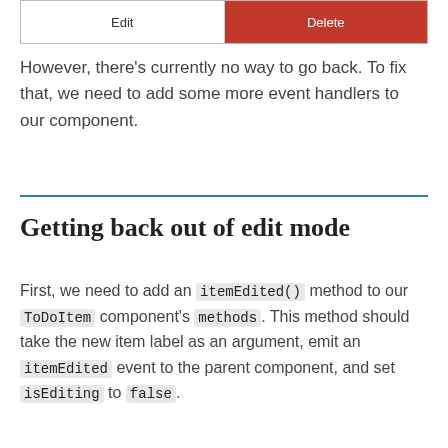[Figure (screenshot): UI screenshot showing Edit and Delete buttons side by side]
However, there's currently no way to go back. To fix that, we need to add some more event handlers to our component.
Getting back out of edit mode
First, we need to add an itemEdited() method to our ToDoItem component's methods. This method should take the new item label as an argument, emit an itemEdited event to the parent component, and set isEditing to false.